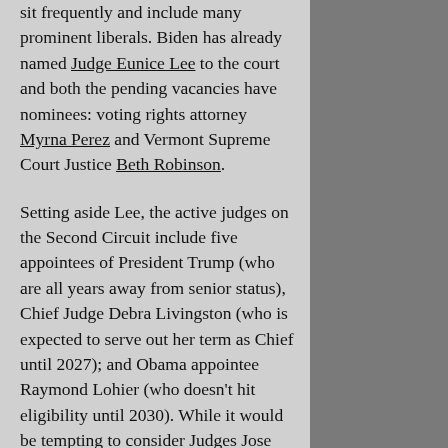sit frequently and include many prominent liberals. Biden has already named Judge Eunice Lee to the court and both the pending vacancies have nominees: voting rights attorney Myrna Perez and Vermont Supreme Court Justice Beth Robinson.

Setting aside Lee, the active judges on the Second Circuit include five appointees of President Trump (who are all years away from senior status), Chief Judge Debra Livingston (who is expected to serve out her term as Chief until 2027); and Obama appointee Raymond Lohier (who doesn't hit eligibility until 2030). While it would be tempting to consider Judges Jose Cabranes and Rosemary Pooler, the last remaining of nine judges appointed to the Court by Bill Clinton, as likely moves to senior status, the judges (both octagenarians) have resisted senior